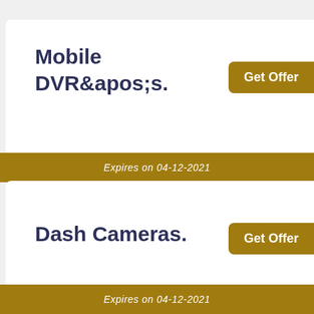Mobile DVR&apos;s.
Get Offer
Expires on 04-12-2021
Dash Cameras.
Get Offer
Expires on 04-12-2021